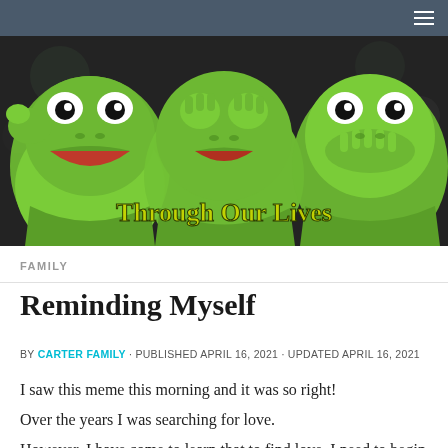Navigation bar with hamburger menu
[Figure (photo): Three Kermit the Frog puppets posed in see-no-evil, hear-no-evil, speak-no-evil poses against a dark background. Text overlay reads 'Through Our Lives' in yellow-green stylized font.]
FAMILY
Reminding Myself
BY CARTER FAMILY · PUBLISHED APRIL 16, 2021 · UPDATED APRIL 16, 2021
I saw this meme this morning and it was so right!
Over the years I was searching for love.
However, I have come to learn that to find love, I need to begin with...